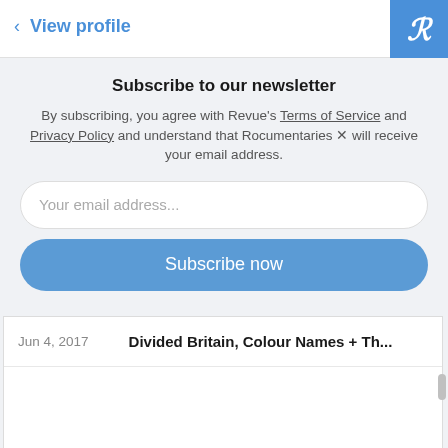< View profile
Subscribe to our newsletter
By subscribing, you agree with Revue's Terms of Service and Privacy Policy and understand that Rocumentaries 🎬 will receive your email address.
Your email address...
Subscribe now
| Date | Title |
| --- | --- |
| Jun 4, 2017 | Divided Britain, Colour Names + Th... |